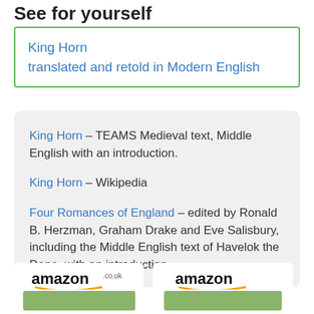See for yourself
King Horn
translated and retold in Modern English
King Horn – TEAMS Medieval text, Middle English with an introduction.

King Horn – Wikipedia

Four Romances of England – edited by Ronald B. Herzman, Graham Drake and Eve Salisbury, including the Middle English text of Havelok the Dane, with an introduction
[Figure (logo): amazon.co.uk logo with orange arrow]
[Figure (logo): amazon logo with orange arrow]